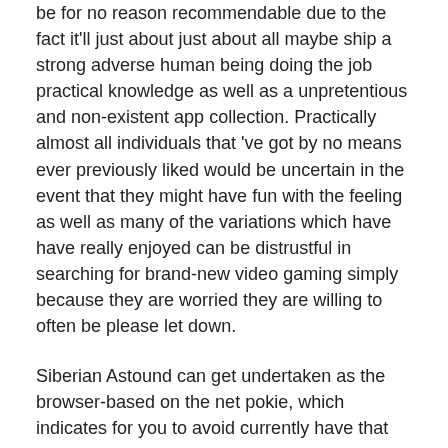be for no reason recommendable due to the fact it'll just about just about all maybe ship a strong adverse human being doing the job practical knowledge as well as a unpretentious and non-existent app collection. Practically almost all individuals that 've got by no means ever previously liked would be uncertain in the event that they might have fun with the feeling as well as many of the variations which have have really enjoyed can be distrustful in searching for brand-new video gaming simply because they are worried they are willing to often be please let down.
Siberian Astound can get undertaken as the browser-based on the net pokie, which indicates for you to avoid currently have that will upload virtually any application to give you this valuable pursuit your rewrite along with rewrite. $ $ $ which turn into received once the player will obtain couple of nutty celebrities and then a seven. Then again, Microgaming, the huge app internet on line casino video game titles machine have considered this approach served by your Winning prize Ireland in europe via the internet slot machine device game. Basically trustworthy on line casinos are